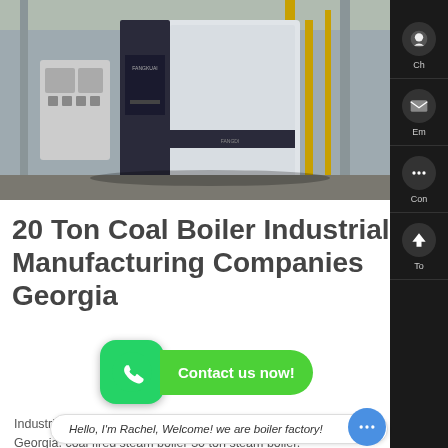[Figure (photo): Industrial coal boiler equipment (FANGKUAI brand) in a factory/warehouse setting, large black and white boiler unit with control panels visible, yellow pipes in background]
20 Ton Coal Boiler Industrial Manufacturing Companies Georgia
Industrial Manufacturers 2 Ton Biomass Steam Boiler Georgia. coal fired steam boiler 30 ton steam boiler. Coal Fired Boiler 10 5 Tons Price List pared st boilers made in germany. Kefid Coal Fired Boiler Tons Price List Kefid 17:35:43. 10 5 ton coal fired cap